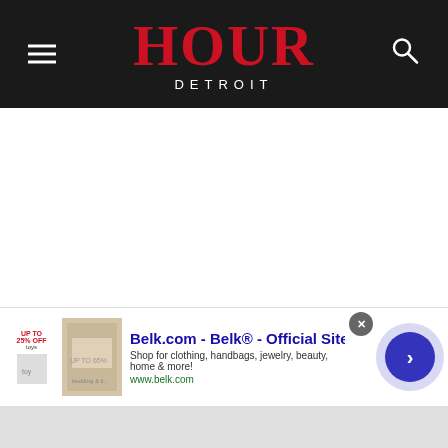HOUR DETROIT
[Figure (screenshot): Hour Detroit magazine website screenshot showing navigation header with hamburger menu, HOUR DETROIT logo in red on dark background, and search icon]
[Figure (screenshot): Newsletter signup popup overlay with red background, city street photo, text: Want more Detroit? Join our newsletter list!]
[Figure (screenshot): Belk.com advertisement: Belk® - Official Site. Shop for clothing, handbags, jewelry, beauty, home & more! www.belk.com]